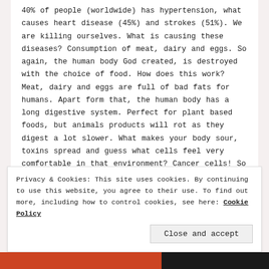40% of people (worldwide) has hypertension, what causes heart disease (45%) and strokes (51%). We are killing ourselves. What is causing these diseases? Consumption of meat, dairy and eggs. So again, the human body God created, is destroyed with the choice of food. How does this work? Meat, dairy and eggs are full of bad fats for humans. Apart form that, the human body has a long digestive system. Perfect for plant based foods, but animals products will rot as they digest a lot slower. What makes your body sour, toxins spread and guess what cells feel very comfortable in that environment? Cancer cells! So this is what
Privacy & Cookies: This site uses cookies. By continuing to use this website, you agree to their use. To find out more, including how to control cookies, see here: Cookie Policy
Close and accept